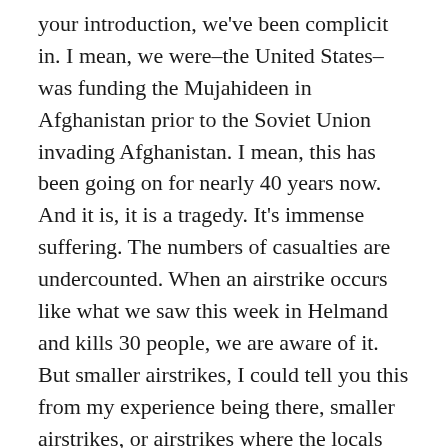your introduction, we've been complicit in. I mean, we were–the United States–was funding the Mujahideen in Afghanistan prior to the Soviet Union invading Afghanistan. I mean, this has been going on for nearly 40 years now. And it is, it is a tragedy. It's immense suffering. The numbers of casualties are undercounted. When an airstrike occurs like what we saw this week in Helmand and kills 30 people, we are aware of it. But smaller airstrikes, I could tell you this from my experience being there, smaller airstrikes, or airstrikes where the locals don't alert the media, or the Afghan government doesn't alert the media, go underreported, or undercounted.